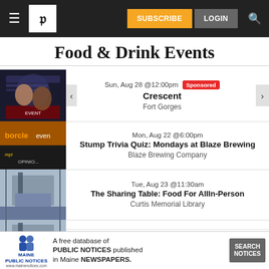Food & Drink Events
Food & Drink Events
Sun, Aug 28 @12:00pm  Sponsored
Crescent
Fort Gorges
Mon, Aug 22 @6:00pm
Stump Trivia Quiz: Mondays at Blaze Brewing
Blaze Brewing Company
Tue, Aug 23 @11:30am
The Sharing Table: Food For AllIn-Person
Curtis Memorial Library
Tue, Aug 23 @11:30am
The Sharing Table: Food For All In-Person
Curtis Memorial Library
[Figure (infographic): Maine Public Notices advertisement banner: logo with two figures, text 'A free database of PUBLIC NOTICES published in Maine NEWSPAPERS.', Search Notices button]